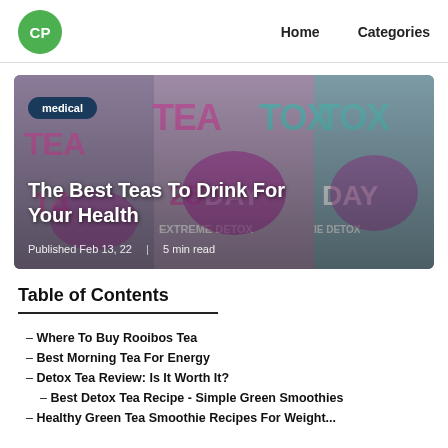CP | Home | Categories
[Figure (photo): Photo of Teatox detox tea packages with purple and teal branding showing '14 Day', '28 Day Extreme Detox Weight Loss' labels]
medical
The Best Teas To Drink For Your Health
Published Feb 13, 22 | 5 min read
Table of Contents
– Where To Buy Rooibos Tea
– Best Morning Tea For Energy
– Detox Tea Review: Is It Worth It?
– Best Detox Tea Recipe - Simple Green Smoothies
– Healthy Green Tea Smoothie Recipes For Weight...